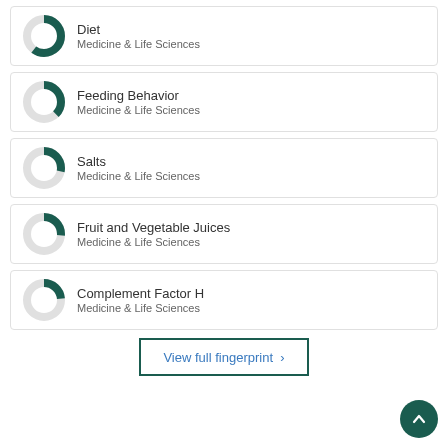[Figure (donut-chart): Donut chart for Diet - Medicine & Life Sciences]
Diet
Medicine & Life Sciences
[Figure (donut-chart): Donut chart for Feeding Behavior - Medicine & Life Sciences]
Feeding Behavior
Medicine & Life Sciences
[Figure (donut-chart): Donut chart for Salts - Medicine & Life Sciences]
Salts
Medicine & Life Sciences
[Figure (donut-chart): Donut chart for Fruit and Vegetable Juices - Medicine & Life Sciences]
Fruit and Vegetable Juices
Medicine & Life Sciences
[Figure (donut-chart): Donut chart for Complement Factor H - Medicine & Life Sciences]
Complement Factor H
Medicine & Life Sciences
View full fingerprint ›